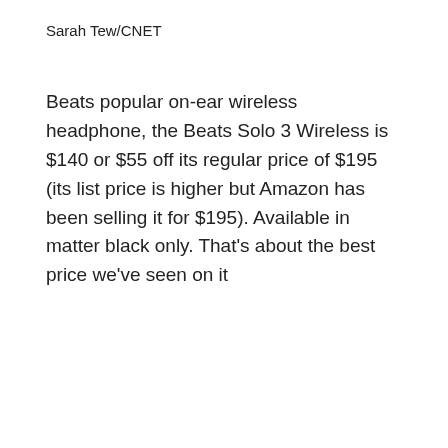Sarah Tew/CNET
Beats popular on-ear wireless headphone, the Beats Solo 3 Wireless is $140 or $55 off its regular price of $195 (its list price is higher but Amazon has been selling it for $195). Available in matter black only. That’s about the best price we’ve seen on it